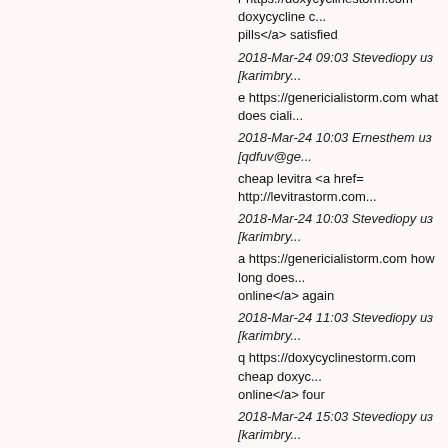r https://doxycyclinestorm.com doxycycline c... pills</a> satisfied
2018-Mar-24 09:03 Stevediopy из [karimbry...
e https://genericialistorm.com what does ciali...
2018-Mar-24 10:03 Ernesthem из [qdfuv@ge...
cheap levitra <a href= http://levitrastorm.com...
2018-Mar-24 10:03 Stevediopy из [karimbry...
a https://genericialistorm.com how long does... online</a> again
2018-Mar-24 11:03 Stevediopy из [karimbry...
q https://doxycyclinestorm.com cheap doxyc... online</a> four
2018-Mar-24 15:03 Stevediopy из [karimbry...
h https://genericialistorm.com buying cialis on...
2018-Mar-24 17:03 Stevediopy из [karimbry...
y https://doxycyclinestorm.com buy doxycycl... online</a> supposed
2018-Mar-24 21:03 Ernesthem из [ritxh@ge...
levitra online <a href= http://levitrastorm.com...